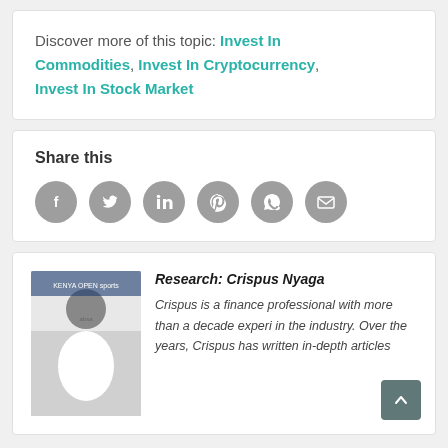Discover more of this topic: Invest In Commodities, Invest In Cryptocurrency, Invest In Stock Market
Share this
[Figure (infographic): Six circular grey social media share icons: Facebook, Twitter, LinkedIn, Pinterest, WhatsApp, Email]
[Figure (photo): Photo of Crispus Nyaga at a Kenya Open sports event with Absa branding in background]
Research: Crispus Nyaga
Crispus is a finance professional with more than a decade experi in the industry. Over the years, Crispus has written in-depth articles